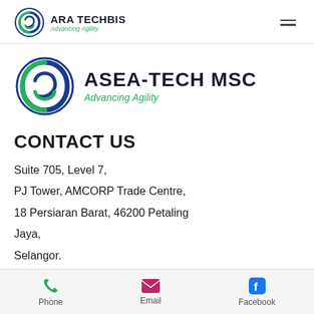[Figure (logo): ARA TECHBIS logo with spiral graphic and tagline 'Advancing Agility' in top navigation bar]
[Figure (logo): ASEA-TECH MSC large logo with spiral graphic and tagline 'Advancing Agility']
CONTACT US
Suite 705, Level 7,
PJ Tower, AMCORP Trade Centre,
18 Persiaran Barat, 46200 Petaling Jaya,
Selangor.
Email: admin@aratechbis.com
[Figure (infographic): Bottom navigation bar with Phone (green phone icon), Email (pink envelope icon), Facebook (blue Facebook icon)]